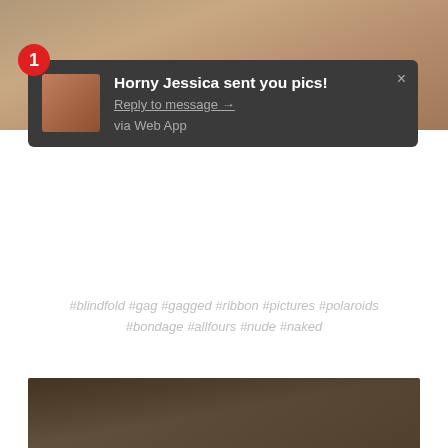[Figure (photo): Top portion of a photo, partially obscured by notification]
[Figure (screenshot): Dark notification popup: badge '1', thumbnail, title 'Horny Jessica sent you pics!', link 'Reply to message →', text 'via Web App', close X]
#blindfold #gag #gagged #ribbon #pictures #polaroids #bondage #allfours #nude #naked
[Figure (photo): Photo of a woman in dark costume with a cane/baton in an indoor setting]